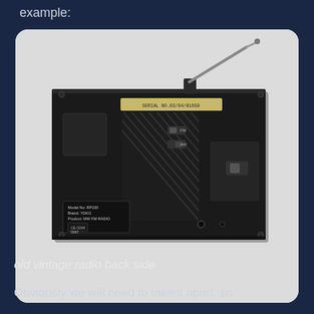example:
[Figure (photo): Back side of an old vintage portable radio/cassette player. The black rectangular device has a telescoping antenna extended diagonally from the top, a diagonal-stripe speaker grille in the center, a serial number label reading 'SERIAL NO.03/94/01659', a product label in the bottom-left corner reading 'Model No: RP100, Brand: YDKG, Product: MW FM RADIO', and various switches and ports visible on the back panel.]
old vintage radio back side
Obviously we will need to take it apart, so